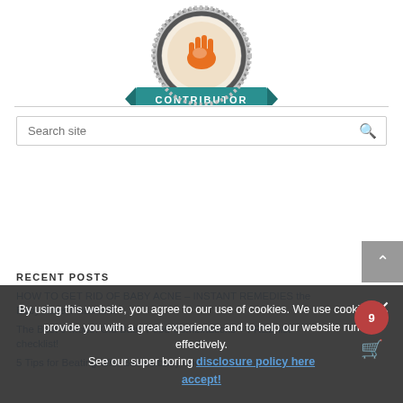[Figure (logo): Circular contributor badge with orange hand/volunteer icon, teal ribbon banner reading CONTRIBUTOR, grey gear/starburst border]
Search site
RECENT POSTS
HOW TO GET RID OF BABY ACNE – INSTANT REMEDIES the Baby Acne Treatment
The Best 9 Month Old Baby Food Combinations + FREE list checklist!
5 Tips for Beating With Babies baby book shows a concept
By using this website, you agree to our use of cookies. We use cookies to provide you with a great experience and to help our website run effectively. See our super boring disclosure policy here accept!